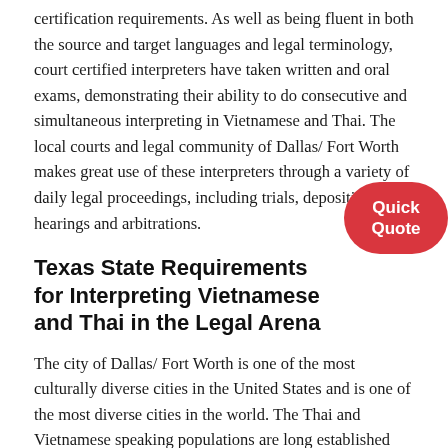certification requirements. As well as being fluent in both the source and target languages and legal terminology, court certified interpreters have taken written and oral exams, demonstrating their ability to do consecutive and simultaneous interpreting in Vietnamese and Thai. The local courts and legal community of Dallas/ Fort Worth makes great use of these interpreters through a variety of daily legal proceedings, including trials, depositions, hearings and arbitrations.
Texas State Requirements for Interpreting Vietnamese and Thai in the Legal Arena
The city of Dallas/ Fort Worth is one of the most culturally diverse cities in the United States and is one of the most diverse cities in the world. The Thai and Vietnamese speaking populations are long established and continually growing in terms of numbers and influence. There are many uses for interpreting in the legal arena in Texas, all helping to facilitate various needs of foreign language speakers and companies worldwide. Vietnamese and Thai are commonly spoken in state and federal courts on a daily basis. In the United States, specific states set differing court certified